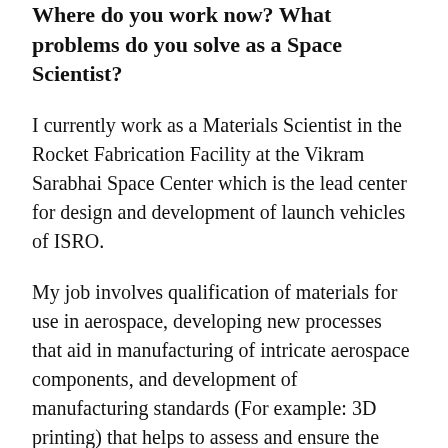Where do you work now? What problems do you solve as a Space Scientist?
I currently work as a Materials Scientist in the Rocket Fabrication Facility at the Vikram Sarabhai Space Center which is the lead center for design and development of launch vehicles of ISRO.
My job involves qualification of materials for use in aerospace, developing new processes that aid in manufacturing of intricate aerospace components, and development of manufacturing standards (For example: 3D printing) that helps to assess and ensure the quality of rocket components. For example, we